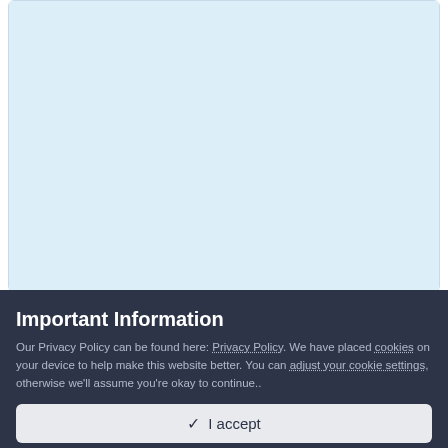By CLJobe, February 25
Shadow Effect
By kbois, June 18
CRYSTALLINE
By Wombat Bill, July 26
Raising a Rebel
By W_L, August 22
Important Information
Our Privacy Policy can be found here: Privacy Policy. We have placed cookies on your device to help make this website better. You can adjust your cookie settings, otherwise we'll assume you're okay to continue..
✓  I accept